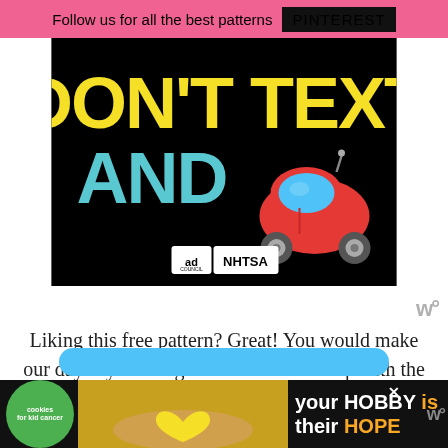Follow us for all the best patterns  PINTEREST
[Figure (infographic): Black background ad with yellow text 'DON'T TEXT' and cyan text 'AND' with a red car emoji, ad council and NHTSA logos at bottom]
Liking this free pattern? Great! You would make our day if you 'bought us a coffee' to help with the site running costs. Thank you.
[Figure (infographic): Bottom banner ad: green cookies for kid cancer logo, hands holding heart image, text 'your HOBBY is their HOPE' on dark background]